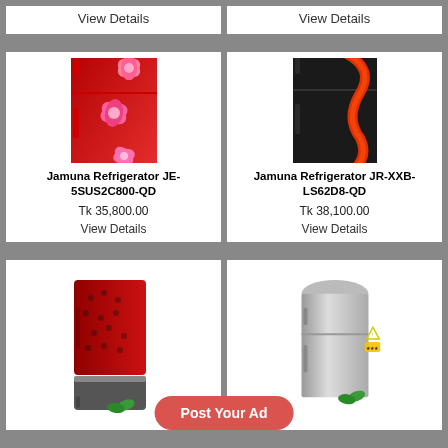View Details
View Details
[Figure (photo): Jamuna red refrigerator with pink flower design]
Jamuna Refrigerator JE-5SUS2C800-QD
Tk 35,800.00
View Details
[Figure (photo): Jamuna black refrigerator with red swirl design]
Jamuna Refrigerator JR-XXB-LS62D8-QD
Tk 38,100.00
View Details
[Figure (photo): Red bottom-freezer refrigerator with dark dot pattern]
[Figure (photo): Silver/stainless double-door refrigerator with energy labels]
Post Your Ad